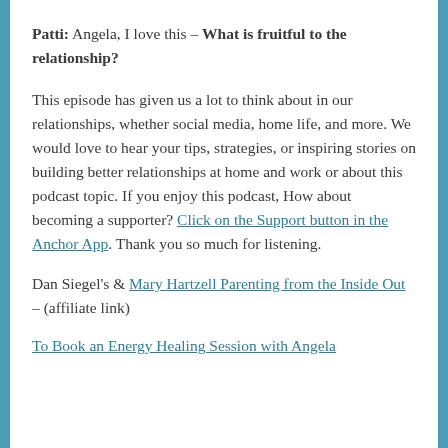Patti: Angela, I love this – What is fruitful to the relationship?
This episode has given us a lot to think about in our relationships, whether social media, home life, and more. We would love to hear your tips, strategies, or inspiring stories on building better relationships at home and work or about this podcast topic. If you enjoy this podcast, How about becoming a supporter? Click on the Support button in the Anchor App. Thank you so much for listening.
Dan Siegel's & Mary Hartzell Parenting from the Inside Out – (affiliate link)
To Book an Energy Healing Session with Angela